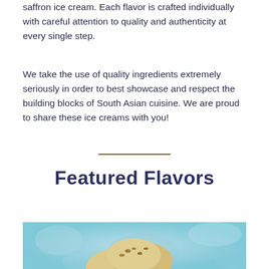saffron ice cream. Each flavor is crafted individually with careful attention to quality and authenticity at every single step.
We take the use of quality ingredients extremely seriously in order to best showcase and respect the building blocks of South Asian cuisine. We are proud to share these ice creams with you!
Featured Flavors
[Figure (photo): Photo of saffron ice cream scoops with nuts on a decorative background]